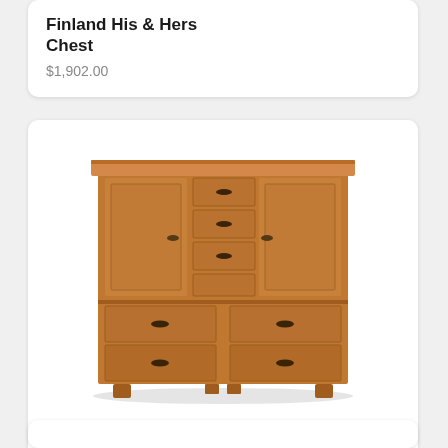Finland His & Hers Chest
$1,902.00
[Figure (photo): Wooden his and hers chest dresser with multiple drawers and cabinet doors, mission style furniture in medium oak/cherry finish]
Flush Mission His & Hers Chest
$1,902.00